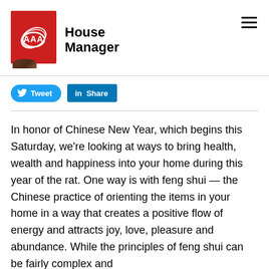House Manager
[Figure (logo): AAA House Manager logo — red rectangle with AAA emblem in white, next to bold text 'House Manager']
Tweet
Share
In honor of Chinese New Year, which begins this Saturday, we're looking at ways to bring health, wealth and happiness into your home during this year of the rat. One way is with feng shui — the Chinese practice of orienting the items in your home in a way that creates a positive flow of energy and attracts joy, love, pleasure and abundance. While the principles of feng shui can be fairly complex and